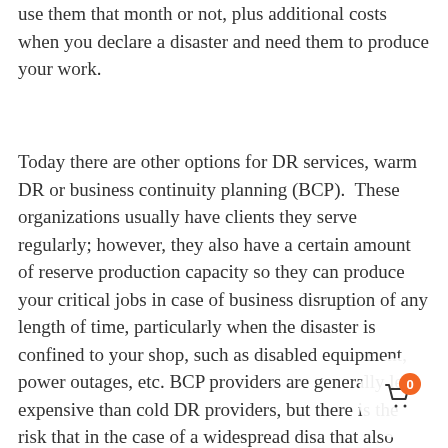use them that month or not, plus additional costs when you declare a disaster and need them to produce your work.
Today there are other options for DR services, warm DR or business continuity planning (BCP).  These organizations usually have clients they serve regularly; however, they also have a certain amount of reserve production capacity so they can produce your critical jobs in case of business disruption of any length of time, particularly when the disaster is confined to your shop, such as disabled equipment, power outages, etc. BCP providers are generally less expensive than cold DR providers, but there is the risk that in the case of a widespread disa that also affects many of their own regular customers, their excess capacity could be